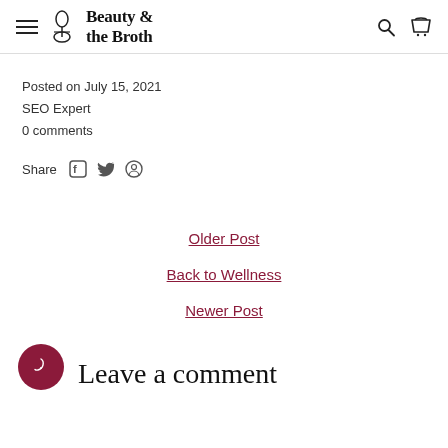Beauty & the Broth
Posted on July 15, 2021
SEO Expert
0 comments
Share
Older Post
Back to Wellness
Newer Post
Leave a comment